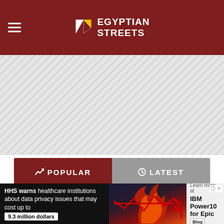Egyptian Streets
[Figure (other): Diagonal hatched grey advertisement placeholder area]
POPULAR | LATEST
[Figure (photo): Thumbnail strip of article image visible below tabs]
HHS warns healthcare institutions about data privacy issues that may cost up to 9.3 million dollars — Learn more at IBM Power10 for Epic Blog